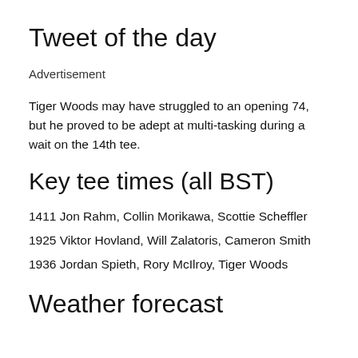Tweet of the day
Advertisement
Tiger Woods may have struggled to an opening 74, but he proved to be adept at multi-tasking during a wait on the 14th tee.
Key tee times (all BST)
1411 Jon Rahm, Collin Morikawa, Scottie Scheffler
1925 Viktor Hovland, Will Zalatoris, Cameron Smith
1936 Jordan Spieth, Rory McIlroy, Tiger Woods
Weather forecast